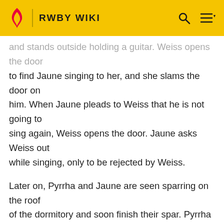RWBY WIKI
and stands outside holding a guitar. Weiss opens the door to find Jaune singing to her, and she slams the door on him. When Jaune pleads to Weiss that he is not going to sing again, Weiss opens the door. Jaune asks Weiss out while singing, only to be rejected by Weiss.
Later on, Pyrrha and Jaune are seen sparring on the roof of the dormitory and soon finish their spar. Pyrrha offers to move on to his Aura training, but he rejects it. Pyrrha, noticing that he is feeling down, assumes that he is disheartened by the fact that he has not discovered his Semblance yet. Jaune tells her that it is something stupid, and she asks him what is wrong.
Jaune tells her about how Weiss shot him down when he